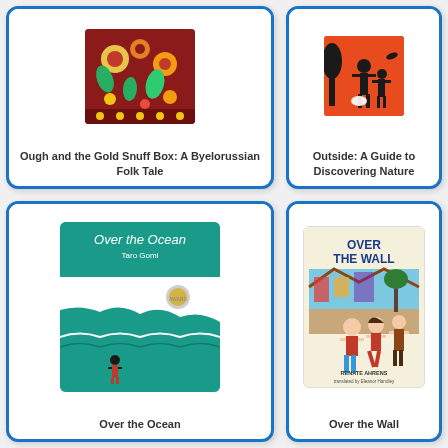[Figure (illustration): Book cover for 'Ough and the Gold Snuff Box: A Byelorussian Folk Tale' showing colorful folk art pattern]
Ough and the Gold Snuff Box: A Byelorussian Folk Tale
[Figure (illustration): Book cover for 'Outside: A Guide to Discovering Nature' showing orange background with black silhouette figures]
Outside: A Guide to Discovering Nature
[Figure (illustration): Book cover for 'Over the Ocean' by Taro Gomi showing teal/green ocean scene with a child figure]
Over the Ocean
[Figure (illustration): Book cover for 'Over the Wall' by Renate Ahrens showing illustrated children near a wall with colorful background]
Over the Wall